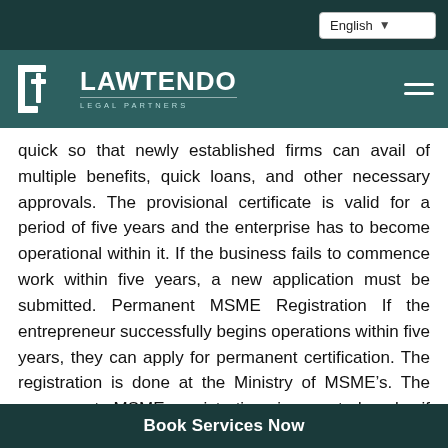English
[Figure (logo): Lawtendo Legal Partners logo with LT bracket mark in white on teal background]
quick so that newly established firms can avail of multiple benefits, quick loans, and other necessary approvals. The provisional certificate is valid for a period of five years and the enterprise has to become operational within it. If the business fails to commence work within five years, a new application must be submitted. Permanent MSME Registration If the entrepreneur successfully begins operations within five years, they can apply for permanent certification. The registration is done at the Ministry of MSME’s. The permanent MSME registration is granted only if specific conditions are met and
Book Services Now